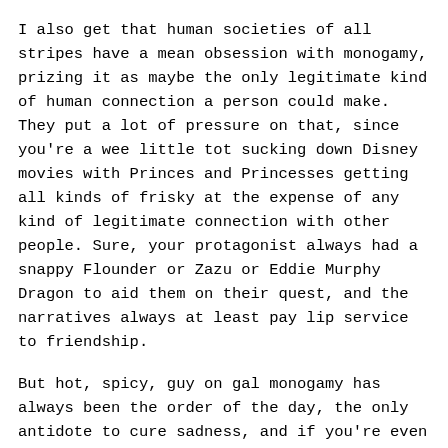I also get that human societies of all stripes have a mean obsession with monogamy, prizing it as maybe the only legitimate kind of human connection a person could make. They put a lot of pressure on that, since you're a wee little tot sucking down Disney movies with Princes and Princesses getting all kinds of frisky at the expense of any kind of legitimate connection with other people. Sure, your protagonist always had a snappy Flounder or Zazu or Eddie Murphy Dragon to aid them on their quest, and the narratives always at least pay lip service to friendship.
But hot, spicy, guy on gal monogamy has always been the order of the day, the only antidote to cure sadness, and if you're even a little apprehensive about trying to achieve that (and you kind of should be, because society has stapled a bomb to your numerical age, and each year you get older, that clock ticks closer to zero, and that bomb says if you ain't shacked you as well be dead, and don't even get it STARTED on what might happen if you